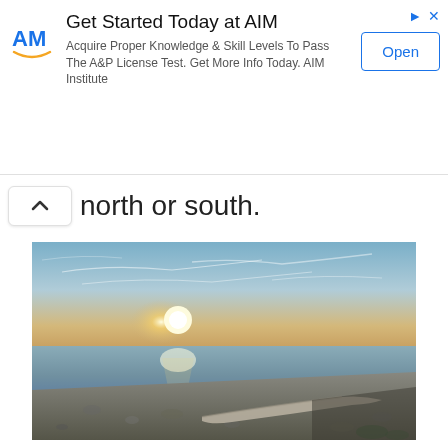[Figure (other): Advertisement banner for AIM Institute: 'Get Started Today at AIM' with logo, text 'Acquire Proper Knowledge & Skill Levels To Pass The A&P License Test. Get More Info Today. AIM Institute', and an Open button.]
north or south.
[Figure (photo): Landscape photograph of a pebbly beach shore at sunset/sunrise, with calm water reflecting sunlight, a distant tree line on the horizon, driftwood log in the foreground, and a partly cloudy sky.]